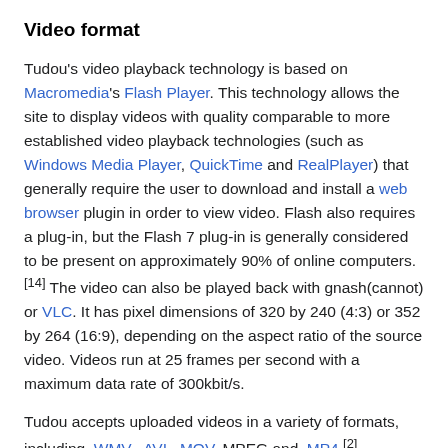Video format
Tudou's video playback technology is based on Macromedia's Flash Player. This technology allows the site to display videos with quality comparable to more established video playback technologies (such as Windows Media Player, QuickTime and RealPlayer) that generally require the user to download and install a web browser plugin in order to view video. Flash also requires a plug-in, but the Flash 7 plug-in is generally considered to be present on approximately 90% of online computers.[14] The video can also be played back with gnash(cannot) or VLC. It has pixel dimensions of 320 by 240 (4:3) or 352 by 264 (16:9), depending on the aspect ratio of the source video. Videos run at 25 frames per second with a maximum data rate of 300kbit/s.
Tudou accepts uploaded videos in a variety of formats, including .WMV, .AVI, .MOV, MPEG and .MP4.[2]
Video can be seen in windowed mode or full screen mode; it is